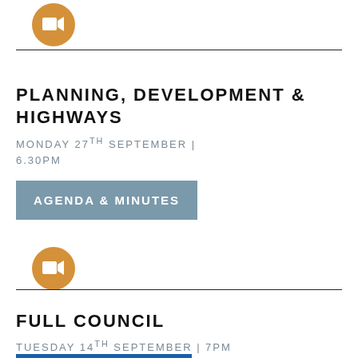[Figure (illustration): Orange circle with white video camera icon at the top of the page]
PLANNING, DEVELOPMENT & HIGHWAYS
MONDAY 27TH SEPTEMBER | 6.30PM
AGENDA & MINUTES
[Figure (illustration): Orange circle with white video camera icon in the middle of the page]
FULL COUNCIL
TUESDAY 14TH SEPTEMBER | 7PM
[Figure (illustration): Blue rectangle button partially visible at bottom of page]